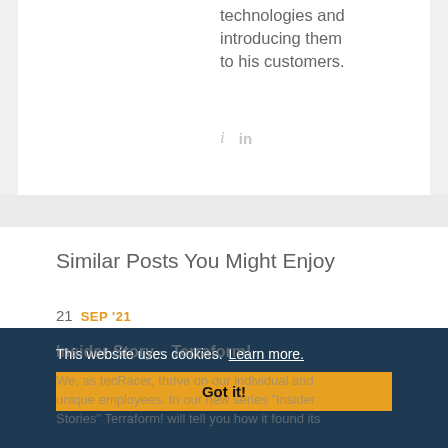technologies and introducing them to his customers.
[Figure (other): Social share icons: italic i and LinkedIn 'in' icon in light gray]
Similar Posts You Might Enjoy
21  SEP '21
This website uses cookies.  Learn more.
Got it!
Insider Story – Terraform!
We, as tecRacer, thrive on our individual and unique employees. In our new series "Insider Stories" Terraform! will tell you how it found its